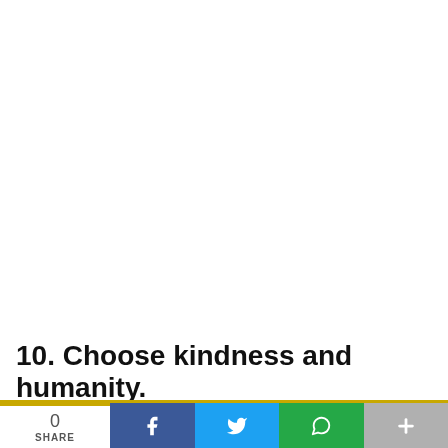10. Choose kindness and humanity.
0 SHARE [Facebook] [Twitter] [WhatsApp] [+]